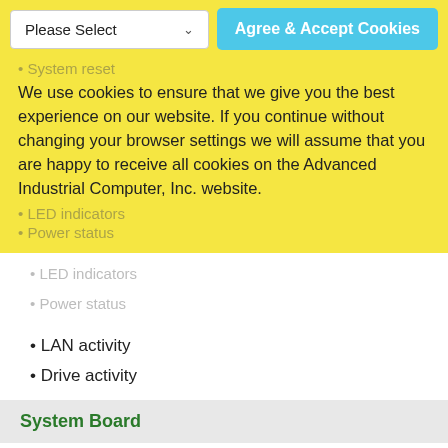[Figure (screenshot): Cookie consent banner overlay with yellow background, containing a 'Please Select' dropdown, 'Agree & Accept Cookies' button, faded background text 'System reset', cookie policy text, and faded text 'LED indicators' and 'Power status']
• LAN activity
• Drive activity
System Board
Up to 12"(W) x 9.6"(D) ATX compliant MB
Drive Bays
• External : 1 x 5.25", 2 x 3.5"
• Internal : 2 x 3.5"
• Peripheral Drive : 1 x Slim DVD-ROM